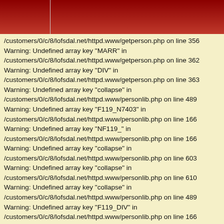/customers/0/c/8/lofsdal.net/httpd.www/getperson.php on line 356
Warning: Undefined array key "MARR" in /customers/0/c/8/lofsdal.net/httpd.www/getperson.php on line 362
Warning: Undefined array key "DIV" in /customers/0/c/8/lofsdal.net/httpd.www/getperson.php on line 363
Warning: Undefined array key "collapse" in /customers/0/c/8/lofsdal.net/httpd.www/personlib.php on line 489
Warning: Undefined array key "F119_N7403" in /customers/0/c/8/lofsdal.net/httpd.www/personlib.php on line 166
Warning: Undefined array key "NF119_" in /customers/0/c/8/lofsdal.net/httpd.www/personlib.php on line 166
Warning: Undefined array key "collapse" in /customers/0/c/8/lofsdal.net/httpd.www/personlib.php on line 603
Warning: Undefined array key "collapse" in /customers/0/c/8/lofsdal.net/httpd.www/personlib.php on line 610
Warning: Undefined array key "collapse" in /customers/0/c/8/lofsdal.net/httpd.www/personlib.php on line 489
Warning: Undefined array key "F119_DIV" in /customers/0/c/8/lofsdal.net/httpd.www/personlib.php on line 166
Warning: Undefined array key "-x--general--x-" in /customers/0/c/8/lofsdal.net/httpd.www/personlib.php on line 927
Warning: Trying to access array offset on value of type null in /customers/0/c/8/lofsdal.net/httpd.www/personlib.php on line 927
Warning: Undefined array key "-x--general--x-" in /customers/0/c/8/lofsdal.net/httpd.www/personlib.php on line 927